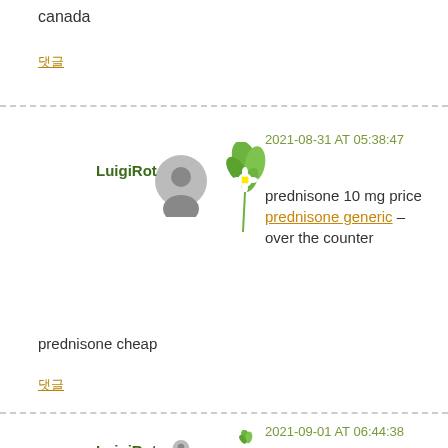canada
댓글
2021-08-31 AT 05:38:47
LuigiRot
prednisone 10 mg price prednisone generic – over the counter
prednisone cheap
댓글
2021-09-01 AT 06:44:38
LuigiRot